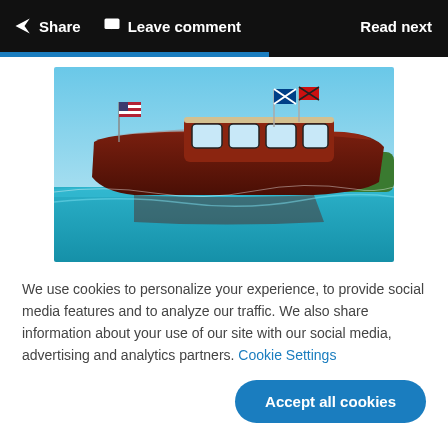Share  Leave comment  Read next
[Figure (photo): A vintage wooden motorboat with an American flag and a Scottish flag, photographed from water level showing the hull below the clear blue water surface, with green trees in the background.]
We use cookies to personalize your experience, to provide social media features and to analyze our traffic. We also share information about your use of our site with our social media, advertising and analytics partners. Cookie Settings
Accept all cookies